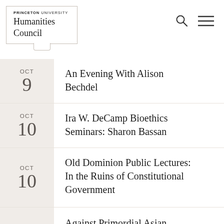PRINCETON UNIVERSITY Humanities Council
OCT 9 — An Evening With Alison Bechdel
OCT 10 — Ira W. DeCamp Bioethics Seminars: Sharon Bassan
OCT 10 — Old Dominion Public Lectures: In the Ruins of Constitutional Government
OCT 11 — Against Primordial Asian America: Triangulating American, Japanese, and Korean Fiction